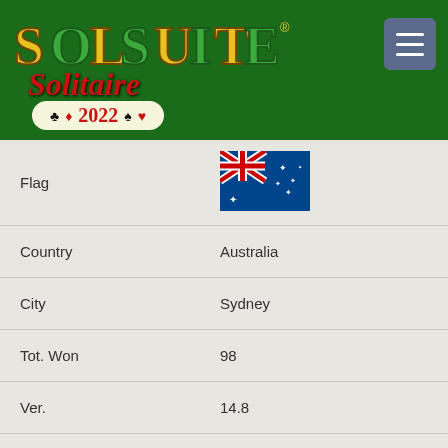[Figure (logo): SolSuite Solitaire 2022 logo on dark green background with hamburger menu button]
| Flag | 🇦🇺 (Australian flag) |
| Country | Australia |
| City | Sydney |
| Tot. Won | 98 |
| Ver. | 14.8 |
| Date | 13 Sep 14 |